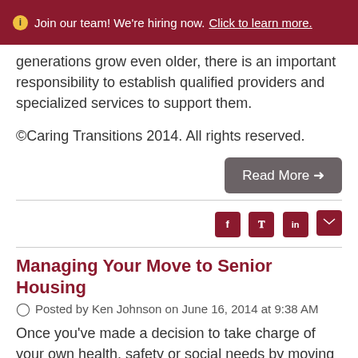ⓘ Join our team! We're hiring now. Click to learn more.
generations grow even older, there is an important responsibility to establish qualified providers and specialized services to support them.
©Caring Transitions 2014. All rights reserved.
Read More →
Social share icons: Facebook, Twitter, LinkedIn, Email
Managing Your Move to Senior Housing
Posted by Ken Johnson on June 16, 2014 at 9:38 AM
Once you've made a decision to take charge of your own health, safety or social needs by moving to a Senior Living Community,
1. Prepare in advance